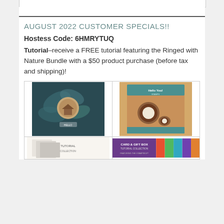AUGUST 2022 CUSTOMER SPECIALS!!
Hostess Code: 6HMRYTUQ
Tutorial–receive a FREE tutorial featuring the Ringed with Nature Bundle with a $50 product purchase (before tax and shipping)!
[Figure (photo): Two-panel image grid showing crafting cards and products. Top left: dark teal botanical card. Top right: kraft paper card with coconut illustration. Bottom: card and gift box tutorial collection banner.]